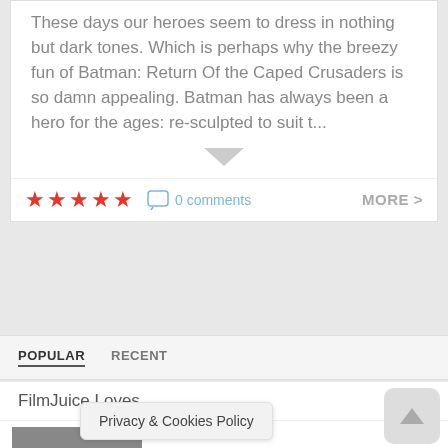These days our heroes seem to dress in nothing but dark tones. Which is perhaps why the breezy fun of Batman: Return Of the Caped Crusaders is so damn appealing. Batman has always been a hero for the ages: re-sculpted to suit t...
[Figure (other): 5 red stars rating]
0 comments
MORE >
POPULAR   RECENT
FilmJuice Loves
[Figure (photo): Movie thumbnail for Burnt by the Sun 2 - soldier in battle scene]
Burnt by the Sun 2
[Figure (other): 4 out of 5 red stars rating for Burnt by the Sun 2]
[Figure (photo): Partial movie thumbnail at bottom - crowd scene]
Dia
Privacy & Cookies Policy